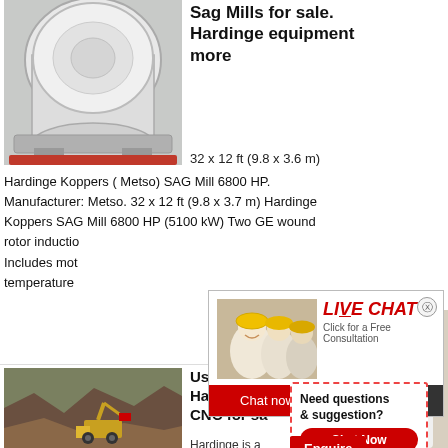[Figure (photo): White industrial SAG mill machine in factory setting]
Sag Mills for sale. Hardinge equipment more
32 x 12 ft (9.8 x 3.6 m)
Hardinge Koppers ( Metso) SAG Mill 6800 HP. Manufacturer: Metso. 32 x 12 ft (9.8 x 3.7 m) Hardinge Koppers SAG Mill 6800 HP (5100 kW) Two GE wound rotor induction Includes motor temperature
[Figure (photo): Live chat popup with workers in hard hats and LIVE CHAT label, Chat now and Chat later buttons]
Hrs Online
[Figure (photo): Customer service representative with headset smiling]
[Figure (photo): Open pit mine with excavator and trucks]
Used Hardinge C CNC for sa
Hardinge is a
[Figure (screenshot): Need questions & suggestion? Chat Now widget with dashed red border]
Enquire